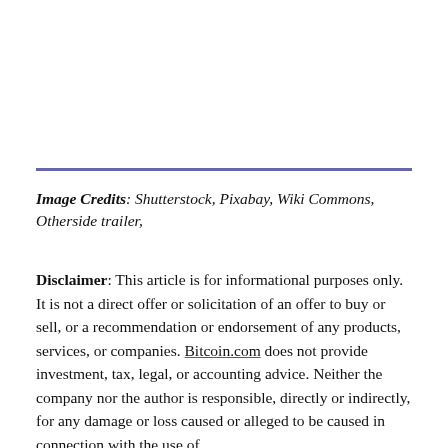Image Credits: Shutterstock, Pixabay, Wiki Commons, Otherside trailer,
Disclaimer: This article is for informational purposes only. It is not a direct offer or solicitation of an offer to buy or sell, or a recommendation or endorsement of any products, services, or companies. Bitcoin.com does not provide investment, tax, legal, or accounting advice. Neither the company nor the author is responsible, directly or indirectly, for any damage or loss caused or alleged to be caused in connection with the use of